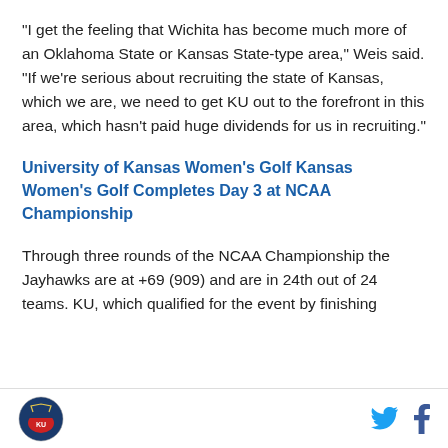"I get the feeling that Wichita has become much more of an Oklahoma State or Kansas State-type area," Weis said. “If we’re serious about recruiting the state of Kansas, which we are, we need to get KU out to the forefront in this area, which hasn't paid huge dividends for us in recruiting."
University of Kansas Women's Golf Kansas Women's Golf Completes Day 3 at NCAA Championship
Through three rounds of the NCAA Championship the Jayhawks are at +69 (909) and are in 24th out of 24 teams. KU, which qualified for the event by finishing
[Figure (logo): University logo / shield emblem in blue and red at bottom left]